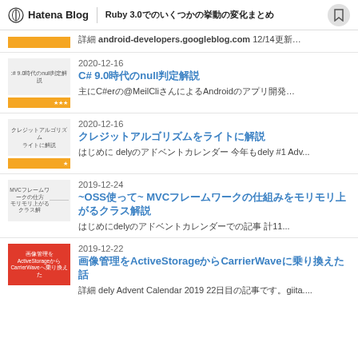Hatena Blog | Ruby 3.0でのいくつかの挙動の変化まとめ
詳細 android-developers.googleblog.com 12/14更新…
2020-12-16
C# 9.0時代のnull判定解説
主にC#erの@MeilCliさんによるAndroidのアプリ開発...
2020-12-16
クレジットアルゴリズムをライトに解説
はじめに delyのアドベントカレンダー 今年もdely #1 Adv...
2019-12-24
~OSSを使って~ MVCフレームワークの仕組みをモリモリ上がるクラス解説
はじめにdelyのアドベントカレンダーでの記事 計11...
2019-12-22
画像管理をActiveStorageからCarrierWaveに乗り換えた話
詳細 dely Advent Calendar 2019 22日目の記事です。giita....